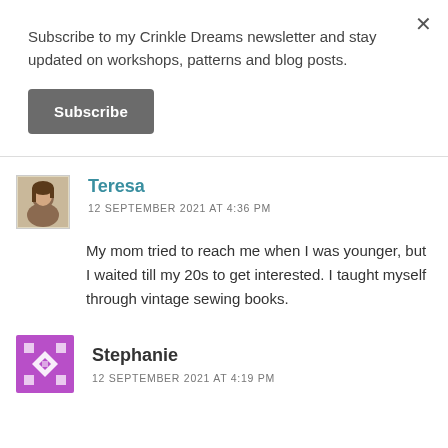Subscribe to my Crinkle Dreams newsletter and stay updated on workshops, patterns and blog posts.
Subscribe
Teresa
12 SEPTEMBER 2021 AT 4:36 PM
My mom tried to reach me when I was younger, but I waited till my 20s to get interested. I taught myself through vintage sewing books.
Stephanie
12 SEPTEMBER 2021 AT 4:19 PM